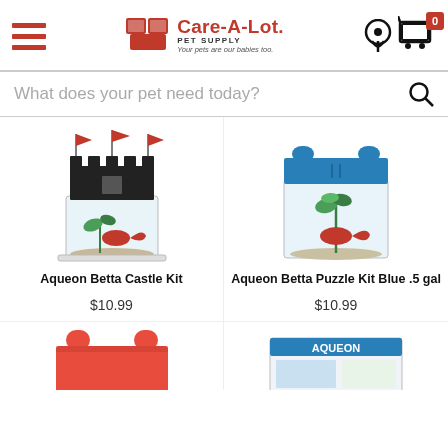Care-A-Lot Pet Supply — Your pets are our babies too.
What does your pet need today?
[Figure (photo): Aqueon Betta Castle Kit — small fish tank with black castle decoration and red flags, with a red betta fish inside]
[Figure (photo): Aqueon Betta Puzzle Kit Blue .5 gal — small rectangular blue-lidded fish tank with green plant and red betta fish inside]
Aqueon Betta Castle Kit
$10.99
Aqueon Betta Puzzle Kit Blue .5 gal
$10.99
[Figure (photo): Partial view of a red puzzle-shaped fish tank (bottom of page)]
[Figure (photo): Partial view of an Aqueon product box (bottom of page)]